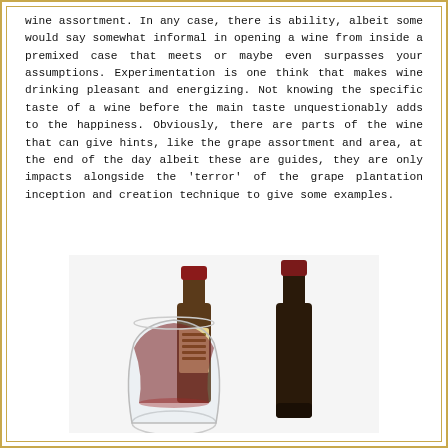wine assortment. In any case, there is ability, albeit some would say somewhat informal in opening a wine from inside a premixed case that meets or maybe even surpasses your assumptions. Experimentation is one think that makes wine drinking pleasant and energizing. Not knowing the specific taste of a wine before the main taste unquestionably adds to the happiness. Obviously, there are parts of the wine that can give hints, like the grape assortment and area, at the end of the day albeit these are guides, they are only impacts alongside the 'terror' of the grape plantation inception and creation technique to give some examples.
[Figure (photo): Two wine bottles and a stemless wine glass filled with red wine. The left bottle has a label with a crest design, the right bottle is darker with a red capsule top.]